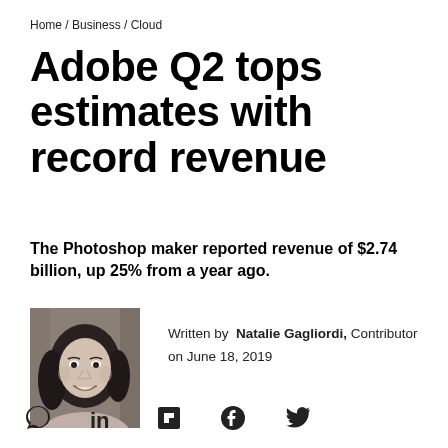Home / Business / Cloud
Adobe Q2 tops estimates with record revenue
The Photoshop maker reported revenue of $2.74 billion, up 25% from a year ago.
[Figure (photo): Black and white headshot photo of Natalie Gagliordi, a woman with dark hair, smiling, against a brick background.]
Written by Natalie Gagliordi, Contributor
on June 18, 2019
[Figure (infographic): Social sharing icons: comment bubble, LinkedIn, Flipboard, Facebook, Twitter]